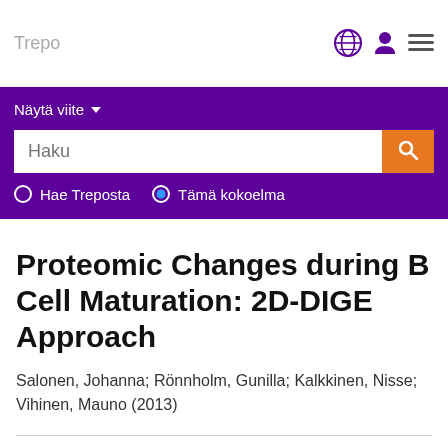Trepo
Näytä viite
Haku
Hae Treposta  Tämä kokoelma
Proteomic Changes during B Cell Maturation: 2D-DIGE Approach
Salonen, Johanna; Rönnholm, Gunilla; Kalkkinen, Nisse; Vihinen, Mauno (2013)